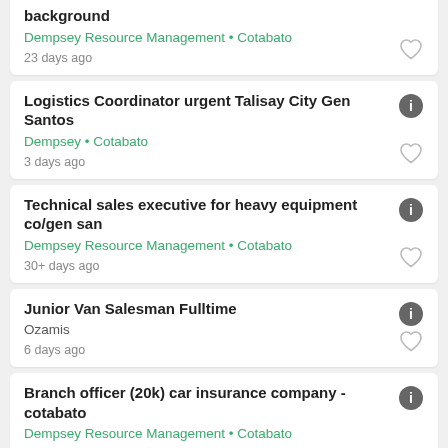background
Dempsey Resource Management • Cotabato
23 days ago
Logistics Coordinator urgent Talisay City Gen Santos
Dempsey • Cotabato
3 days ago
Technical sales executive for heavy equipment co/gen san
Dempsey Resource Management • Cotabato
30+ days ago
Junior Van Salesman Fulltime
Ozamis
6 days ago
Branch officer (20k) car insurance company - cotabato
Dempsey Resource Management • Cotabato